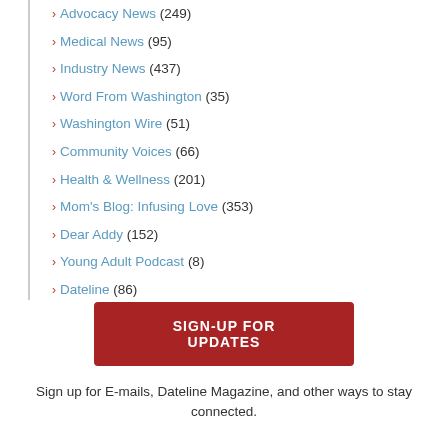Advocacy News (249)
Medical News (95)
Industry News (437)
Word From Washington (35)
Washington Wire (51)
Community Voices (66)
Health & Wellness (201)
Mom's Blog: Infusing Love (353)
Dear Addy (152)
Young Adult Podcast (8)
Dateline (86)
SIGN-UP FOR UPDATES
Sign up for E-mails, Dateline Magazine, and other ways to stay connected.